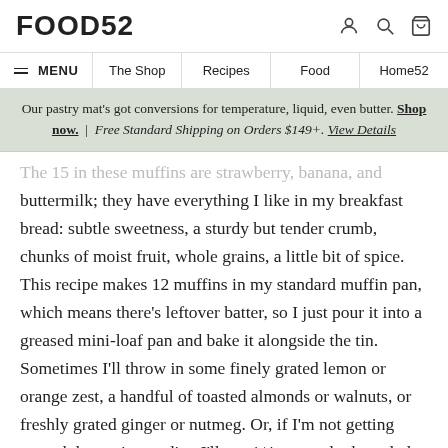FOOD52
MENU | The Shop | Recipes | Food | Home52
Our pastry mat's got conversions for temperature, liquid, even butter. Shop now. | Free Standard Shipping on Orders $149+. View Details
The 15 in these muffins are strawberry, banana, and buttermilk; they have everything I like in my breakfast bread: subtle sweetness, a sturdy but tender crumb, chunks of moist fruit, whole grains, a little bit of spice. This recipe makes 12 muffins in my standard muffin pan, which means there's leftover batter, so I just pour it into a greased mini-loaf pan and bake it alongside the tin. Sometimes I'll throw in some finely grated lemon or orange zest, a handful of toasted almonds or walnuts, or freshly grated ginger or nutmeg. Or, if I'm not getting enough butter in my diet, I'll use 1/4 cup melted, cooled, unsalted butter in place of the oil. Not getting enough butter in my diet? Ha! Not likely! But